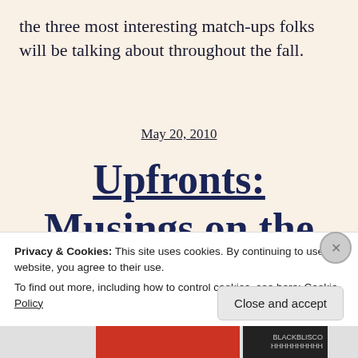the three most interesting match-ups folks will be talking about throughout the fall.
May 20, 2010
Upfronts: Musings on the
Privacy & Cookies: This site uses cookies. By continuing to use this website, you agree to their use.
To find out more, including how to control cookies, see here: Cookie Policy
Close and accept